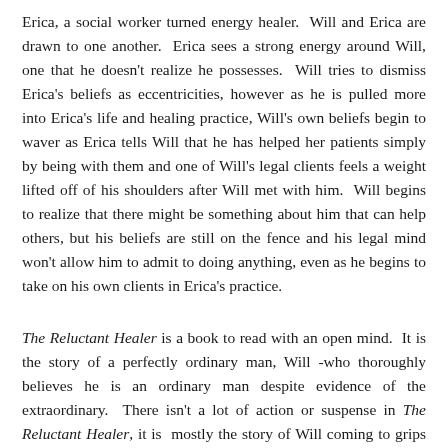Erica, a social worker turned energy healer. Will and Erica are drawn to one another. Erica sees a strong energy around Will, one that he doesn't realize he possesses. Will tries to dismiss Erica's beliefs as eccentricities, however as he is pulled more into Erica's life and healing practice, Will's own beliefs begin to waver as Erica tells Will that he has helped her patients simply by being with them and one of Will's legal clients feels a weight lifted off of his shoulders after Will met with him. Will begins to realize that there might be something about him that can help others, but his beliefs are still on the fence and his legal mind won't allow him to admit to doing anything, even as he begins to take on his own clients in Erica's practice.
The Reluctant Healer is a book to read with an open mind. It is the story of a perfectly ordinary man, Will -who thoroughly believes he is an ordinary man despite evidence of the extraordinary. There isn't a lot of action or suspense in The Reluctant Healer, it is mostly the story of Will coming to grips with forces within himself yet outside of his control, and slowly changing his worldview and belief system. Even without a lot of excitement, The Reluctant Healer still had me intrigued. I really wanted to know what Will's ability was, how he was going to decide how to use it and if it had any limits. Since this is a story of Will, his...